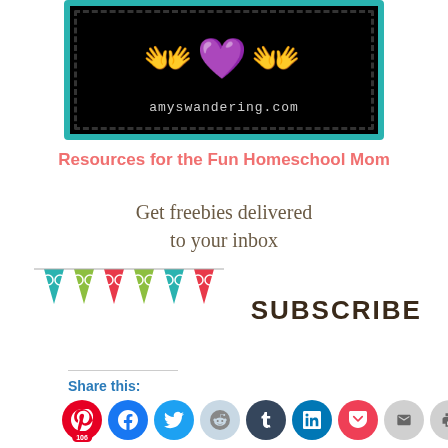[Figure (logo): Black box with teal border showing mom text icons and amyswandering.com URL]
Resources for the Fun Homeschool Mom
[Figure (infographic): Subscribe call-to-action with text 'Get freebies delivered to your inbox', colorful bunting banner, and SUBSCRIBE button]
Share this:
[Figure (infographic): Social sharing icons: Pinterest (106), Facebook, Twitter, Reddit, Tumblr, LinkedIn, Pocket, Email, Print]